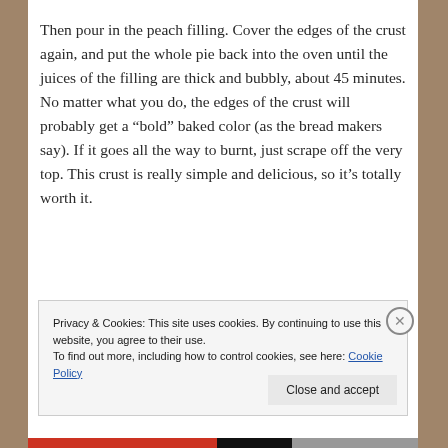Then pour in the peach filling.  Cover the edges of the crust again, and put the whole pie back into the oven until the juices of the filling are thick and bubbly, about 45 minutes.  No matter what you do, the edges of the crust will probably get a “bold” baked color (as the bread makers say). If it goes all the way to burnt, just scrape off the very top.  This crust is really simple and delicious, so it’s totally worth it.
Privacy & Cookies: This site uses cookies. By continuing to use this website, you agree to their use.
To find out more, including how to control cookies, see here: Cookie Policy